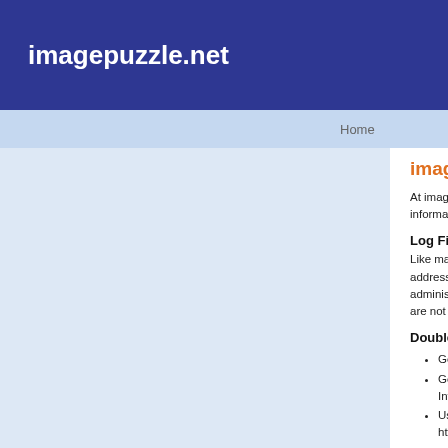imagepuzzle.net
Home
imagepuzzle.net Privacy Policy
At imagepuzzle.net, the privacy of our visitors is of extreme importance to us. This privacy policy document outline the types of personal information that is received and collected by imagepuzzle.net and how it is used.
Log Files
Like many other Web sites, imagepuzzle.net makes use of log files. The information inside the log files includes internet protocol ( IP ) addresses, type of browser, Internet Service Provider ( ISP ), date/time stamp, referring/exit pages, and number of clicks to analyze trends, administer the site, track user's movement around the site, and gather demographic information. IP addresses, and other such information are not linked to any information that is personally identifiable.
DoubleClick DART Cookie
Google, as a third party vendor, uses cookies to serve ads on imagepuzzle.net.
Google's use of the DART cookie enables it to serve ads to users based on their visit to imagepuzzle.net and other sites on the Internet.
Users may opt out of the use of the DART cookie by visiting the Google ad and content network privacy policy at the following URL – http://www.google.com/privacy_ads.html
Our third-party ad servers or ad networks use technology to the advertisements and links that appear on imagepuzzle.net send directly to your browsers. They automatically receive your IP address when this occurs. Other technologies ( such as cookies, JavaScript, or Web Beacons ) may also be used by the third-party ad networks to measure the effectiveness of their advertisements and / or to personalize the advertising content that you see.
imagepuzzle.net has no access to or control over these cookies that are used by third-party advertisers.